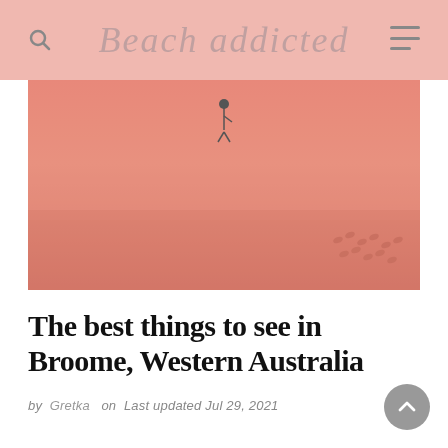Beach addicted
[Figure (photo): Aerial or wide view of a pink/red sandy beach with a small figure and footprints visible]
The best things to see in Broome, Western Australia
by Gretka on Last updated Jul 29, 2021